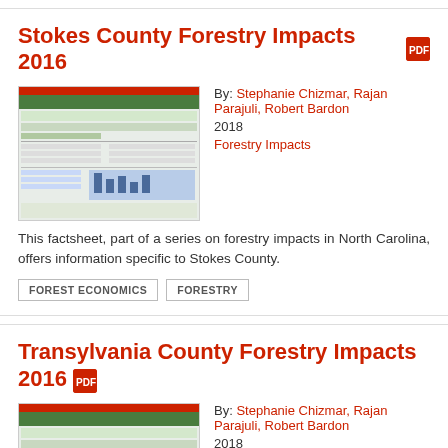Stokes County Forestry Impacts 2016
By: Stephanie Chizmar, Rajan Parajuli, Robert Bardon
2018
Forestry Impacts
[Figure (thumbnail): Thumbnail preview of Stokes County Forestry Impacts 2016 factsheet]
This factsheet, part of a series on forestry impacts in North Carolina, offers information specific to Stokes County.
FOREST ECONOMICS
FORESTRY
Transylvania County Forestry Impacts 2016
By: Stephanie Chizmar, Rajan Parajuli, Robert Bardon
2018
Forestry Impacts
[Figure (thumbnail): Thumbnail preview of Transylvania County Forestry Impacts 2016 factsheet]